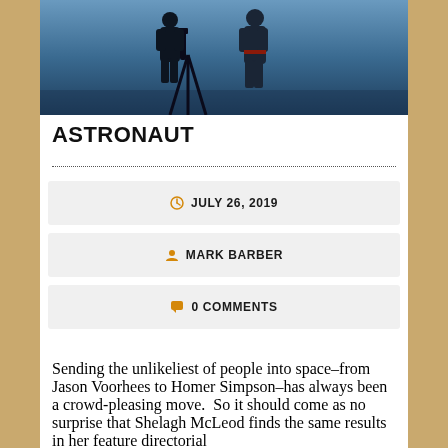[Figure (photo): Two silhouetted figures standing outdoors with a telescope on a tripod, against a blue twilight sky.]
ASTRONAUT
JULY 26, 2019
MARK BARBER
0 COMMENTS
Sending the unlikeliest of people into space–from Jason Voorhees to Homer Simpson–has always been a crowd-pleasing move.  So it should come as no surprise that Shelagh McLeod finds the same results in her feature directorial